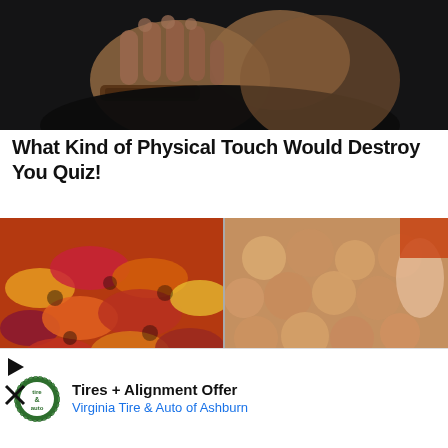[Figure (photo): Close-up photo of a person's hands and upper body wearing a dark outfit with a brown leather wristband, appears moody/dramatic lighting]
What Kind of Physical Touch Would Destroy You Quiz!
[Figure (photo): Side-by-side images of knitting (colorful yarn) and crochetting (beige yarn) with labels 'knitting' and 'crochetting']
[Figure (photo): Advertisement banner: Tires + Alignment Offer from Virginia Tire & Auto of Ashburn, showing company logo and navigation arrow icon]